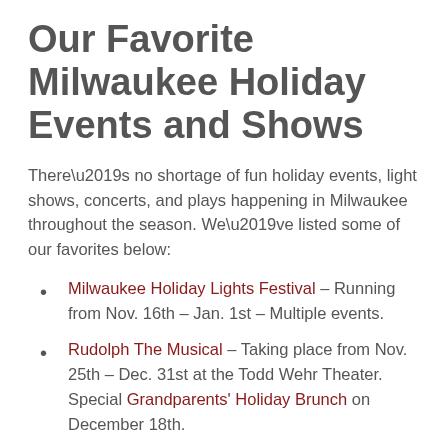Our Favorite Milwaukee Holiday Events and Shows
There’s no shortage of fun holiday events, light shows, concerts, and plays happening in Milwaukee throughout the season. We’ve listed some of our favorites below:
Milwaukee Holiday Lights Festival – Running from Nov. 16th – Jan. 1st – Multiple events.
Rudolph The Musical – Taking place from Nov. 25th – Dec. 31st at the Todd Wehr Theater. Special Grandparents’ Holiday Brunch on December 18th.
A Christmas Carol – The famous Dickens classic, running from Nov. 28th to Dec. 24th at the Pabst Theater.